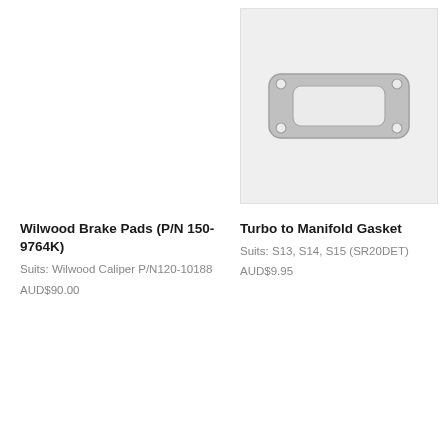[Figure (photo): Product image area for Wilwood Brake Pads — no image shown, blank/white area]
Wilwood Brake Pads (P/N 150-9764K)
Suits: Wilwood Caliper P/N120-10188
AUD$90.00
[Figure (photo): Product photo of a metal turbo to manifold gasket — rectangular gasket with rounded rectangular center hole and four bolt holes at corners, silver/grey color on light grey background]
Turbo to Manifold Gasket
Suits: S13, S14, S15 (SR20DET)
AUD$9.95